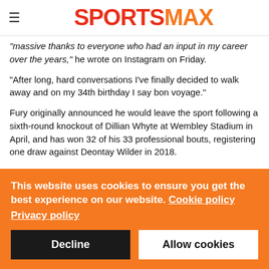SPORTSMAX
"massive thanks to everyone who had an input in my career over the years," he wrote on Instagram on Friday.
"After long, hard conversations I've finally decided to walk away and on my 34th birthday I say bon voyage."
Fury originally announced he would leave the sport following a sixth-round knockout of Dillian Whyte at Wembley Stadium in April, and has won 32 of his 33 professional bouts, registering one draw against Deontay Wilder in 2018.
This website uses cookies to ensure you get the best experience on our website. Cookie policy Privacy policy
Decline
Allow cookies